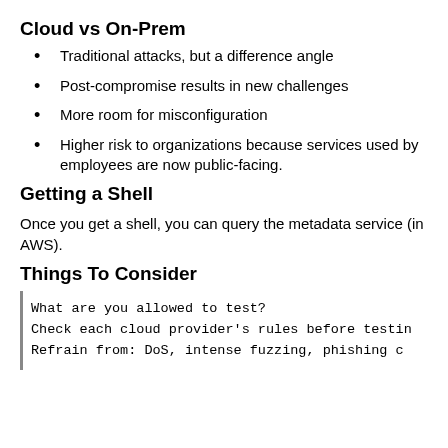Cloud vs On-Prem
Traditional attacks, but a difference angle
Post-compromise results in new challenges
More room for misconfiguration
Higher risk to organizations because services used by employees are now public-facing.
Getting a Shell
Once you get a shell, you can query the metadata service (in AWS).
Things To Consider
What are you allowed to test?
Check each cloud provider's rules before testin
Refrain from: DoS, intense fuzzing, phishing c